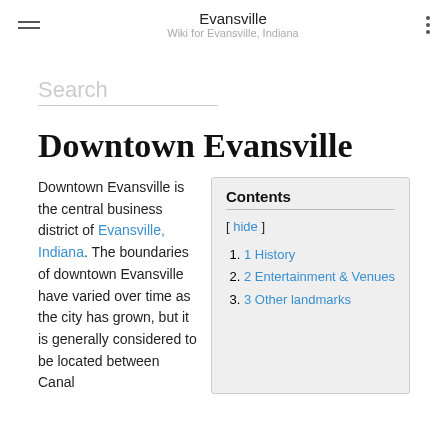Evansville
Wiki for Evansville, Indiana
Search
Downtown Evansville
Downtown Evansville is the central business district of Evansville, Indiana. The boundaries of downtown Evansville have varied over time as the city has grown, but it is generally considered to be located between Canal
| Contents |
| --- |
| [ hide ] |
| 1 History |
| 2 Entertainment & Venues |
| 3 Other landmarks |